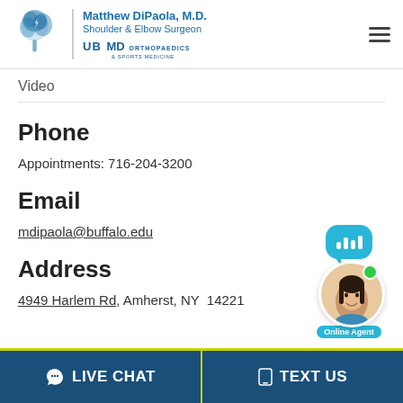Matthew DiPaola, M.D. Shoulder & Elbow Surgeon — UB MD ORTHOPAEDICS & SPORTS MEDICINE
Video
Phone
Appointments: 716-204-3200
Email
mdipaola@buffalo.edu
Address
4949 Harlem Rd, Amherst, NY  14221
[Figure (illustration): Online Agent chat bubble widget with a photo of a woman and a green online status dot, labeled 'Online Agent']
LIVE CHAT   TEXT US